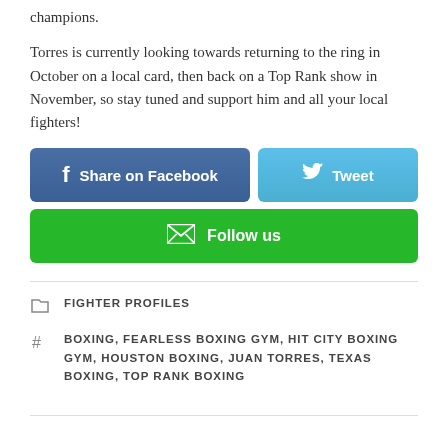champions.
Torres is currently looking towards returning to the ring in October on a local card, then back on a Top Rank show in November, so stay tuned and support him and all your local fighters!
[Figure (infographic): Social share buttons: Share on Facebook (blue), Tweet (light blue), Follow us (green)]
FIGHTER PROFILES
BOXING, FEARLESS BOXING GYM, HIT CITY BOXING GYM, HOUSTON BOXING, JUAN TORRES, TEXAS BOXING, TOP RANK BOXING